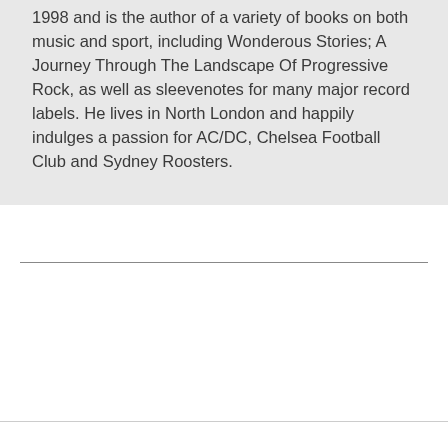1998 and is the author of a variety of books on both music and sport, including Wonderous Stories; A Journey Through The Landscape Of Progressive Rock, as well as sleevenotes for many major record labels. He lives in North London and happily indulges a passion for AC/DC, Chelsea Football Club and Sydney Roosters.